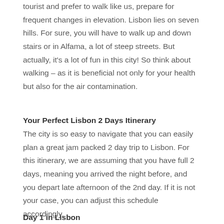tourist and prefer to walk like us, prepare for frequent changes in elevation. Lisbon lies on seven hills. For sure, you will have to walk up and down stairs or in Alfama, a lot of steep streets. But actually, it's a lot of fun in this city! So think about walking – as it is beneficial not only for your health but also for the air contamination.
Your Perfect Lisbon 2 Days Itinerary
The city is so easy to navigate that you can easily plan a great jam packed 2 day trip to Lisbon. For this itinerary, we are assuming that you have full 2 days, meaning you arrived the night before, and you depart late afternoon of the 2nd day. If it is not your case, you can adjust this schedule accordingly.
Day 1 in Lisbon